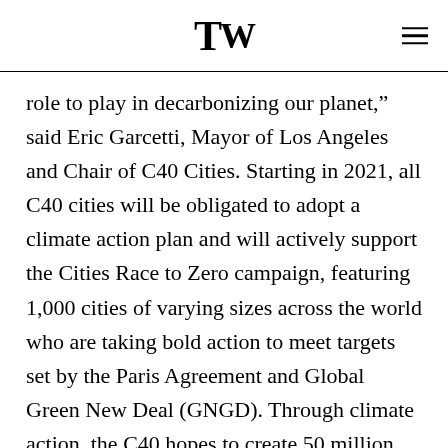TW
role to play in decarbonizing our planet,” said Eric Garcetti, Mayor of Los Angeles and Chair of C40 Cities. Starting in 2021, all C40 cities will be obligated to adopt a climate action plan and will actively support the Cities Race to Zero campaign, featuring 1,000 cities of varying sizes across the world who are taking bold action to meet targets set by the Paris Agreement and Global Green New Deal (GNGD). Through climate action, the C40 hopes to create 50 million green jobs by 2025, prevent 250,000 premature deaths, and save $1 trillion in healthcare costs.